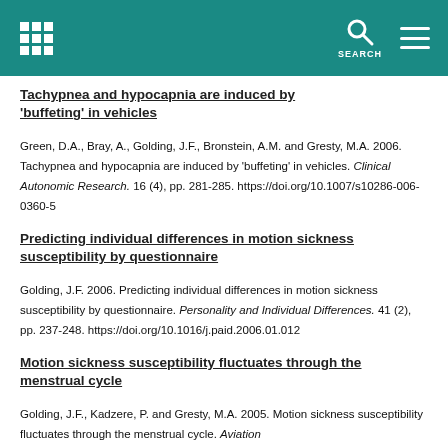SEARCH
Tachypnea and hypocapnia are induced by 'buffeting' in vehicles
Green, D.A., Bray, A., Golding, J.F., Bronstein, A.M. and Gresty, M.A. 2006. Tachypnea and hypocapnia are induced by 'buffeting' in vehicles. Clinical Autonomic Research. 16 (4), pp. 281-285. https://doi.org/10.1007/s10286-006-0360-5
Predicting individual differences in motion sickness susceptibility by questionnaire
Golding, J.F. 2006. Predicting individual differences in motion sickness susceptibility by questionnaire. Personality and Individual Differences. 41 (2), pp. 237-248. https://doi.org/10.1016/j.paid.2006.01.012
Motion sickness susceptibility fluctuates through the menstrual cycle
Golding, J.F., Kadzere, P. and Gresty, M.A. 2005. Motion sickness susceptibility fluctuates through the menstrual cycle. Aviation